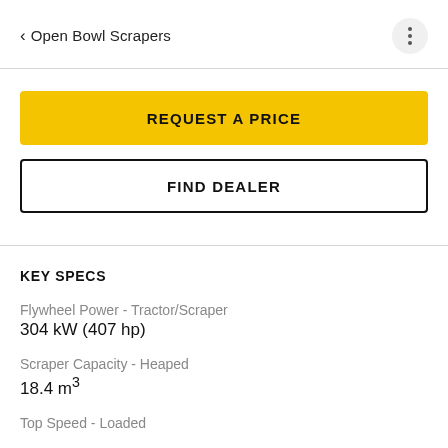< Open Bowl Scrapers
REQUEST A PRICE
FIND DEALER
KEY SPECS
Flywheel Power - Tractor/Scraper
304 kW (407 hp)
Scraper Capacity - Heaped
18.4 m³
Top Speed - Loaded